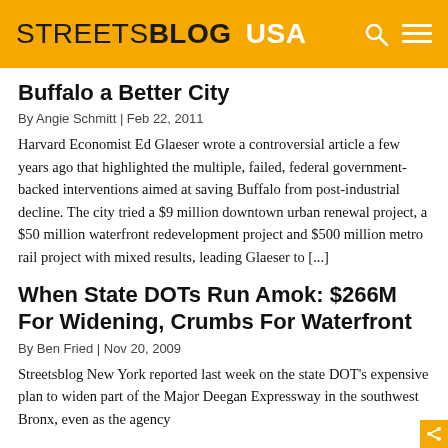STREETSBLOG USA
Buffalo a Better City
By Angie Schmitt | Feb 22, 2011
Harvard Economist Ed Glaeser wrote a controversial article a few years ago that highlighted the multiple, failed, federal government-backed interventions aimed at saving Buffalo from post-industrial decline. The city tried a $9 million downtown urban renewal project, a $50 million waterfront redevelopment project and $500 million metro rail project with mixed results, leading Glaeser to [...]
When State DOTs Run Amok: $266M For Widening, Crumbs For Waterfront
By Ben Fried | Nov 20, 2009
Streetsblog New York reported last week on the state DOT's expensive plan to widen part of the Major Deegan Expressway in the southwest Bronx, even as the agency